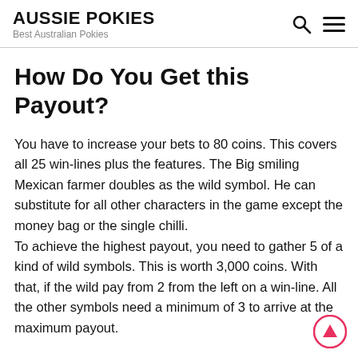AUSSIE POKIES
Best Australian Pokies
How Do You Get this Payout?
You have to increase your bets to 80 coins. This covers all 25 win-lines plus the features. The Big smiling Mexican farmer doubles as the wild symbol. He can substitute for all other characters in the game except the money bag or the single chilli.
To achieve the highest payout, you need to gather 5 of a kind of wild symbols. This is worth 3,000 coins. With that, if the wild pay from 2 from the left on a win-line. All the other symbols need a minimum of 3 to arrive at the maximum payout.